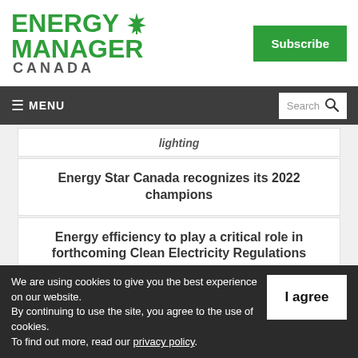[Figure (logo): Energy Manager Canada logo with green maple leaf, green bold text ENERGY MANAGER and gray CANADA]
Subscribe
≡ MENU   Search
lighting
Energy Star Canada recognizes its 2022 champions
Energy efficiency to play a critical role in forthcoming Clean Electricity Regulations
We are using cookies to give you the best experience on our website.
By continuing to use the site, you agree to the use of cookies.
To find out more, read our privacy policy.
I agree